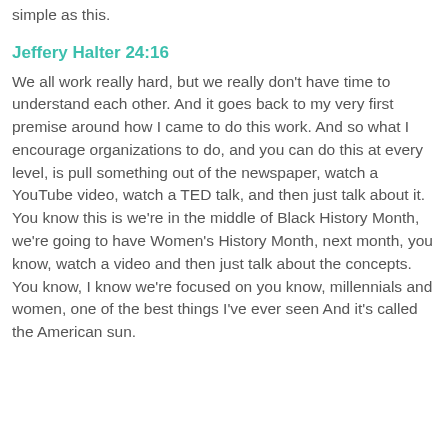simple as this.
Jeffery Halter 24:16
We all work really hard, but we really don't have time to understand each other. And it goes back to my very first premise around how I came to do this work. And so what I encourage organizations to do, and you can do this at every level, is pull something out of the newspaper, watch a YouTube video, watch a TED talk, and then just talk about it. You know this is we're in the middle of Black History Month, we're going to have Women's History Month, next month, you know, watch a video and then just talk about the concepts. You know, I know we're focused on you know, millennials and women, one of the best things I've ever seen And it's called the American sun.